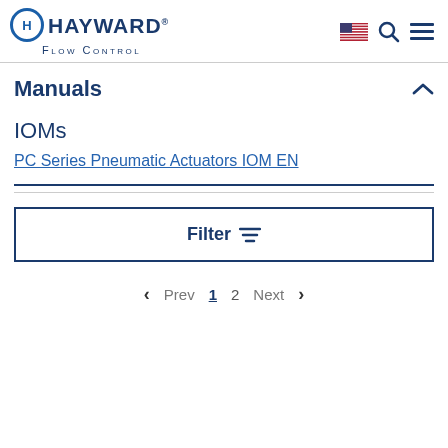[Figure (logo): Hayward Flow Control logo with blue H circle and text]
Manuals
IOMs
PC Series Pneumatic Actuators IOM EN
Filter
Prev 1 2 Next